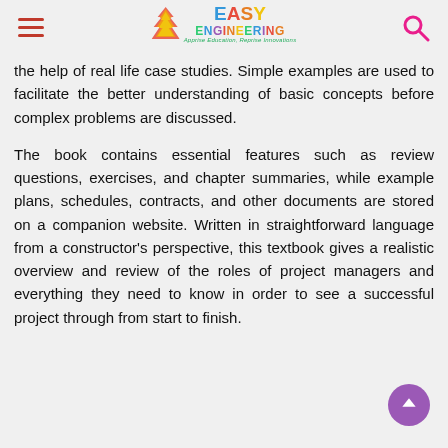Easy Engineering — Apprise Education, Reprise Innovations
the help of real life case studies. Simple examples are used to facilitate the better understanding of basic concepts before complex problems are discussed.
The book contains essential features such as review questions, exercises, and chapter summaries, while example plans, schedules, contracts, and other documents are stored on a companion website. Written in straightforward language from a constructor's perspective, this textbook gives a realistic overview and review of the roles of project managers and everything they need to know in order to see a successful project through from start to finish.